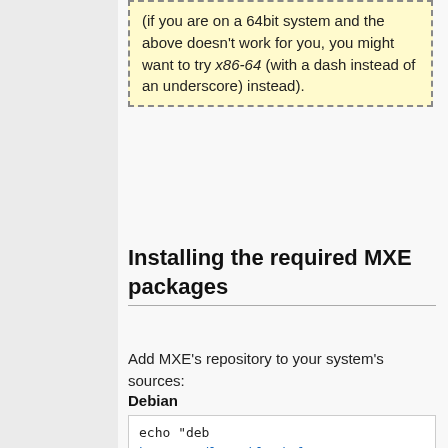(if you are on a 64bit system and the above doesn't work for you, you might want to try x86-64 (with a dash instead of an underscore) instead).
Installing the required MXE packages
Add MXE's repository to your system's sources:
Debian
echo "deb https://dl.mumble.info/mirror/pkg.mxe.cc/repos/apt@ stretch